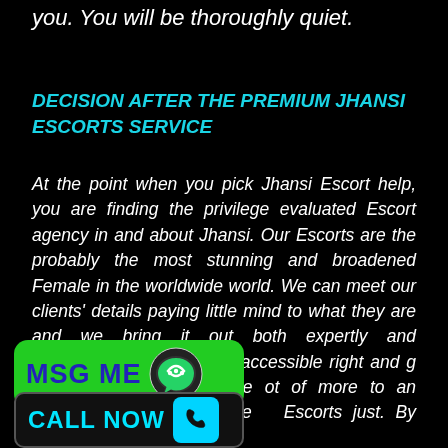you. You will be thoroughly quiet.
DECISION AFTER THE PREMIUM JHANSI ESCORTS SERVICE
At the point when you pick Jhansi Escort help, you are finding the privilege evaluated Escort agency in and about Jhansi. Our Escorts are the probably the most stunning and broadened Female in the worldwide world. We can meet our clients' details paying little mind to what they are and we bring it out both expertly and unobtrusively. Our [workers] is accessible right and [devoted] for making your objectives materialize [it is] of more to an individual agency than the Escorts just. By giving